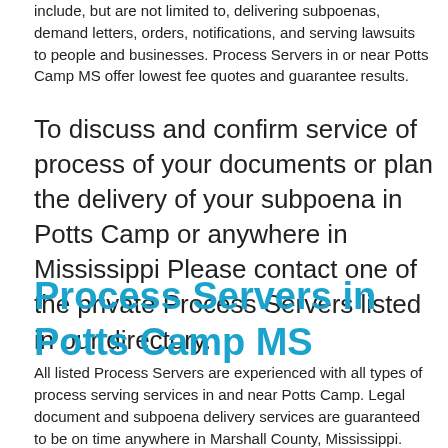include, but are not limited to, delivering subpoenas, demand letters, orders, notifications, and serving lawsuits to people and businesses. Process Servers in or near Potts Camp MS offer lowest fee quotes and guarantee results.
To discuss and confirm service of process of your documents or plan the delivery of your subpoena in Potts Camp or anywhere in Mississippi Please contact one of the private Process Servers listed in our directory.
Process Servers in Potts Camp MS
All listed Process Servers are experienced with all types of process serving services in and near Potts Camp. Legal document and subpoena delivery services are guaranteed to be on time anywhere in Marshall County, Mississippi.